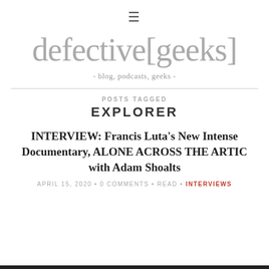[Figure (other): Hamburger menu icon (three horizontal lines)]
defective[geeks]
- blog, podcasts, geeks -
POSTS TAGGED
EXPLORER
INTERVIEW: Francis Luta's New Intense Documentary, ALONE ACROSS THE ARTIC with Adam Shoalts
APRIL 15, 2020 • 0 COMMENTS • READ • INTERVIEWS